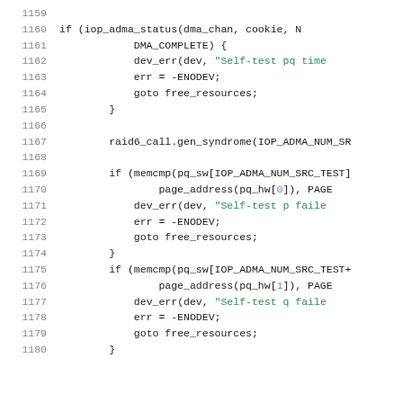[Figure (screenshot): Source code listing showing C code lines 1159-1180, with line numbers on the left and syntax-highlighted code on the right. Keywords in dark, string literals in green, array indices in blue.]